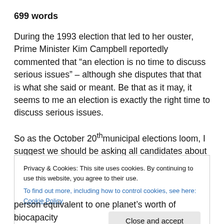699 words
During the 1993 election that led to her ouster, Prime Minister Kim Campbell reportedly commented that “an election is no time to discuss serious issues” – although she disputes that that is what she said or meant. Be that as it may, it seems to me an election is exactly the right time to discuss serious issues.
So as the October 20th municipal elections loom, I suggest we should be asking all candidates about a very serious issue – in fact, in my view, the most serious challenge we
Privacy & Cookies: This site uses cookies. By continuing to use this website, you agree to their use.
To find out more, including how to control cookies, see here: Cookie Policy
person equivalent to one planet’s worth of biocapacity